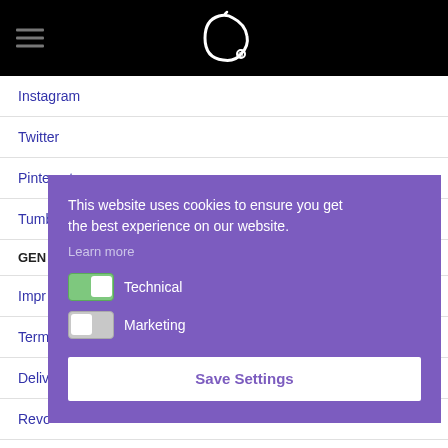Navigation header with logo and hamburger menu
Instagram
Twitter
Pinterest
Tumblr
GEN
Impr
Term
Deliv
Revo
AGBs
This website uses cookies to ensure you get the best experience on our website. Learn more Technical Marketing Save Settings